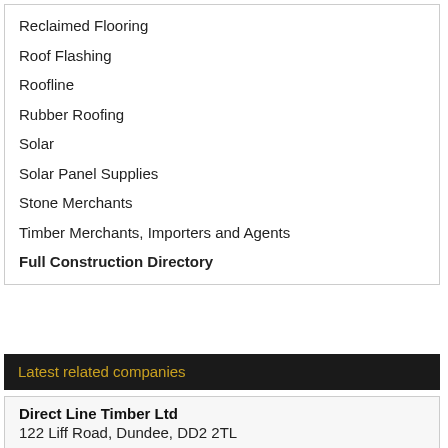Reclaimed Flooring
Roof Flashing
Roofline
Rubber Roofing
Solar
Solar Panel Supplies
Stone Merchants
Timber Merchants, Importers and Agents
Full Construction Directory
Latest related companies
Direct Line Timber Ltd
122 Liff Road, Dundee, DD2 2TL